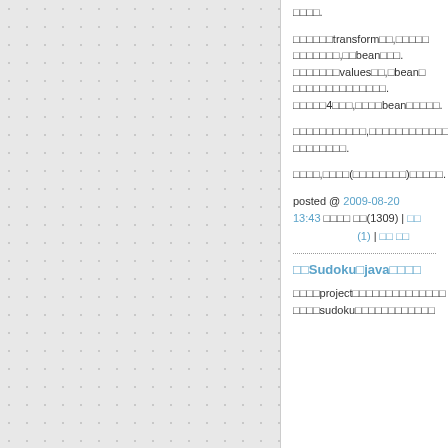□□□□.
□□□□□□transform□□,□□□□□□□□□□□□,□□bean□□□. □□□□□□□values□□,□bean□□□□□□□□□□□□□□□. □□□□□4□□□,□□□□bean□□□□□.
□□□□□□□□□□□,□□□□□□□□□□□□. □□□□□□□□□.
□□□□,□□□□(□□□□□□□□)□□□□□.
posted @ 2009-08-20 13:43 □□□□ □□(1309) | □□(1) | □□ □□
□□Sudoku□java□□□□
□□□□project□□□□□□□□□□□□□□□□□sudoku□□□□□□□□□□□□